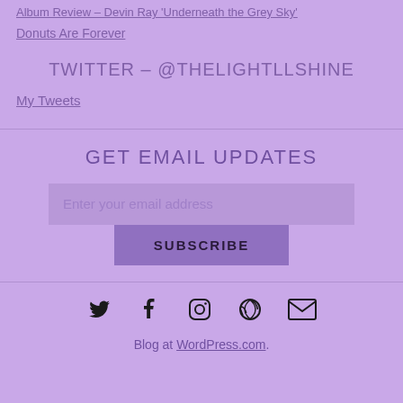Album Review - Devin Ray 'Underneath the Grey Sky'
Donuts Are Forever
TWITTER – @THELIGHTLLSHINE
My Tweets
GET EMAIL UPDATES
Enter your email address
SUBSCRIBE
[Figure (other): Social media icons: Twitter, Facebook, Instagram, WordPress, Email]
Blog at WordPress.com.